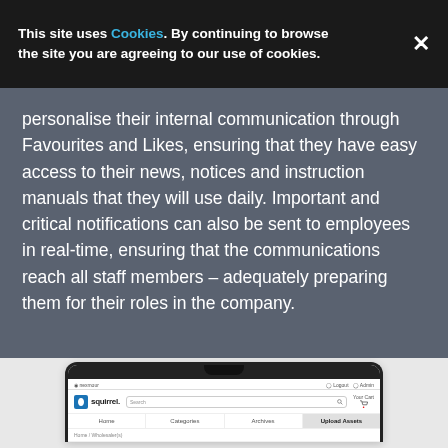This site uses Cookies. By continuing to browse the site you are agreeing to our use of cookies.
personalise their internal communication through Favourites and Likes, ensuring that they have easy access to their news, notices and instruction manuals that they will use daily. Important and critical notifications can also be sent to employees in real-time, ensuring that the communications reach all staff members – adequately preparing them for their roles in the company.
[Figure (screenshot): Screenshot of a web application called 'squirrel.' showing navigation bar with Home, Categories, Archives, Upload Assets tabs and a search bar.]